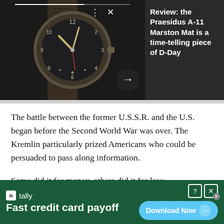[Figure (photo): Close-up photo of a vintage military-style watch with dark dial on a dark background, shown in an article preview card with navigation arrows and a progress bar at top. The right side of the banner shows the article title in white text on dark background.]
Review: the Praesidus A-11 Marston Mat is a time-telling piece of D-Day
The battle between the former U.S.S.R. and the U.S. began before the Second World War was over. The Kremlin particularly prized Americans who could be persuaded to pass along information.
Some did it for money, others did it for love.
[Figure (other): Advertisement banner for Tally app. Green background with Tally logo and text 'Fast credit card payoff'. Blue 'Download Now' button with arrow on the right side. Help and close icons in top-right corner.]